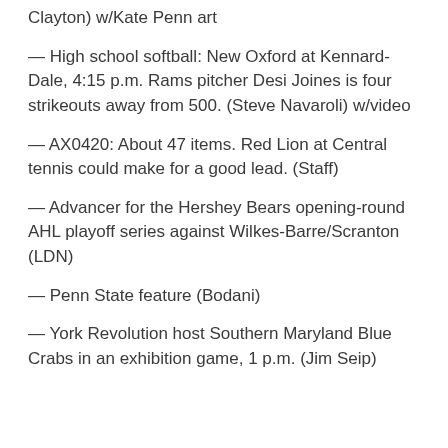Clayton) w/Kate Penn art
— High school softball: New Oxford at Kennard-Dale, 4:15 p.m. Rams pitcher Desi Joines is four strikeouts away from 500. (Steve Navaroli) w/video
— AX0420: About 47 items. Red Lion at Central tennis could make for a good lead. (Staff)
— Advancer for the Hershey Bears opening-round AHL playoff series against Wilkes-Barre/Scranton (LDN)
— Penn State feature (Bodani)
— York Revolution host Southern Maryland Blue Crabs in an exhibition game, 1 p.m. (Jim Seip)